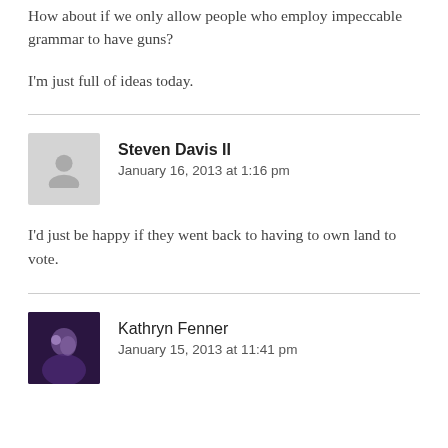How about if we only allow people who employ impeccable grammar to have guns?
I'm just full of ideas today.
Steven Davis II
January 16, 2013 at 1:16 pm
I'd just be happy if they went back to having to own land to vote.
Kathryn Fenner
January 15, 2013 at 11:41 pm